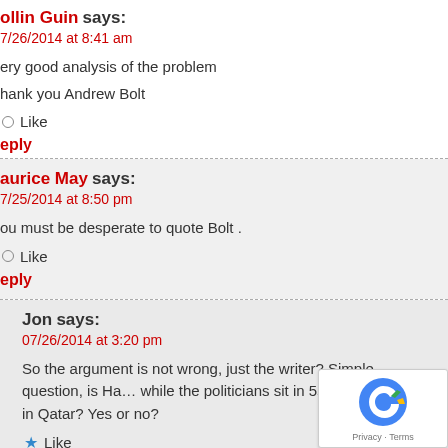ollin Guin says:
7/26/2014 at 8:41 am
ery good analysis of the problem
hank you Andrew Bolt
Like
eply
aurice May says:
7/25/2014 at 8:50 pm
ou must be desperate to quote Bolt .
Like
eply
Jon says:
07/26/2014 at 3:20 pm
So the argument is not wrong, just the writer? Simple question, is Ha... while the politicians sit in 5star hotels in Qatar? Yes or no?
Like